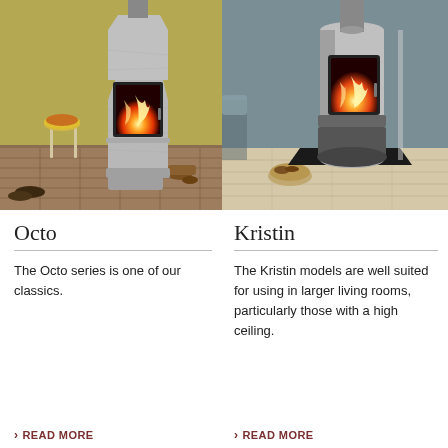[Figure (photo): Photo of the Octo fireplace/stove in a room with yellow-green wall, wooden stool with orange cushion, stone tile floor, and logs. The stove is a tall octagonal soapstone wood stove with a glass fire door showing flames.]
[Figure (photo): Photo of the Kristin fireplace/stove in a modern room with blue-grey wall, light wood floor, and a black base plate. The stove is a tall cylindrical soapstone wood stove with a glass fire door showing flames.]
Octo
The Octo series is one of our classics.
> READ MORE
Kristin
The Kristin models are well suited for using in larger living rooms, particularly those with a high ceiling.
> READ MORE